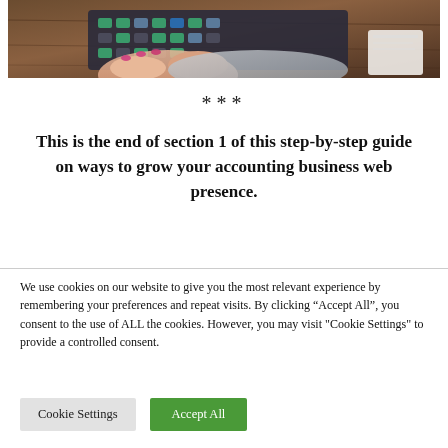[Figure (photo): Hands typing on a calculator/keyboard on a desk, partial view]
***
This is the end of section 1 of this step-by-step guide on ways to grow your accounting business web presence.
We use cookies on our website to give you the most relevant experience by remembering your preferences and repeat visits. By clicking "Accept All", you consent to the use of ALL the cookies. However, you may visit "Cookie Settings" to provide a controlled consent.
Cookie Settings | Accept All